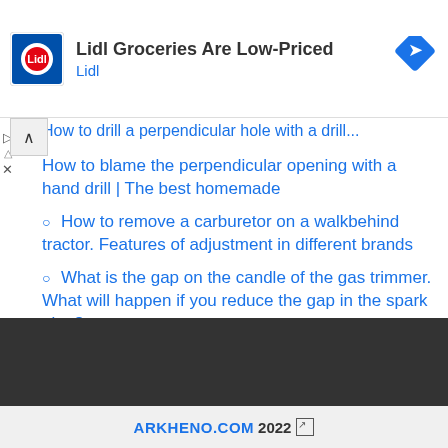[Figure (screenshot): Lidl advertisement banner with Lidl logo, text 'Lidl Groceries Are Low-Priced', brand name 'Lidl', and a blue navigation arrow icon]
How to drill a perpendicular hole with a drill (partially visible, truncated)
How to blame the perpendicular opening with a hand drill | The best homemade
How to remove a carburetor on a walkbehind tractor. Features of adjustment in different brands
What is the gap on the candle of the gas trimmer. What will happen if you reduce the gap in the spark plug?
ARKHENO.COM 2022